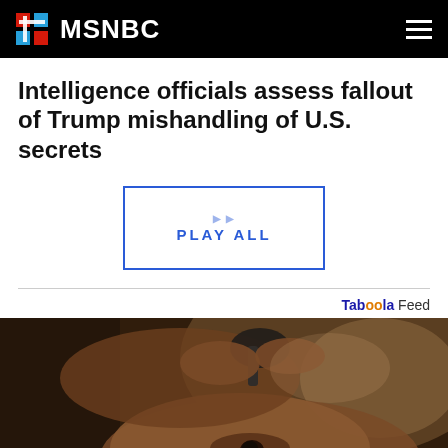MSNBC
Intelligence officials assess fallout of Trump mishandling of U.S. secrets
[Figure (other): PLAY ALL button with blue border]
Taboola Feed
[Figure (photo): Close-up photo of a person applying eye drops, hands holding a dropper near the eye, warm indoor lighting]